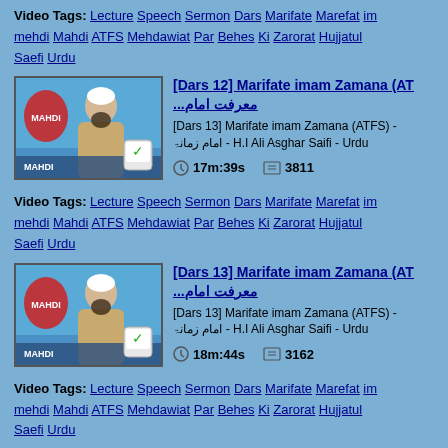Video Tags: Lecture Speech Sermon Dars Marifate Marefat im mehdi Mahdi ATFS Mehdawiat Par Behes Ki Zarorat Hujjatul Saefi Urdu
[Figure (screenshot): Thumbnail of a cleric speaking on TV - Dars 12]
[Dars 12] Marifate imam Zamana (AT... معرفت امام...
[Dars 12] Marifate imam Zamana (ATFS) - امام زمانۃ - H.I Ali Asghar Saifi - Urdu
17m:39s  3811
Video Tags: Lecture Speech Sermon Dars Marifate Marefat im mehdi Mahdi ATFS Mehdawiat Par Behes Ki Zarorat Hujjatul Saefi Urdu
[Figure (screenshot): Thumbnail of a cleric speaking on TV - Dars 13]
[Dars 13] Marifate imam Zamana (AT... معرفت امام...
[Dars 13] Marifate imam Zamana (ATFS) - امام زمانۃ - H.I Ali Asghar Saifi - Urdu
18m:44s  3162
Video Tags: Lecture Speech Sermon Dars Marifate Marefat im mehdi Mahdi ATFS Mehdawiat Par Behes Ki Zarorat Hujjatul Saefi Urdu